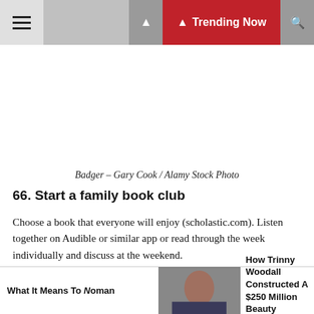Trending Now
[Figure (photo): Large white/blank image area representing a Badger photo placeholder]
Badger – Gary Cook / Alamy Stock Photo
66. Start a family book club
Choose a book that everyone will enjoy (scholastic.com). Listen together on Audible or similar app or read through the week individually and discuss at the weekend.
67. Make candles
[Figure (photo): Photo of a woman, partially visible in the bottom center strip]
What It Means To Noman
How Trinny Woodall Constructed A $250 Million Beauty Empire In 4...